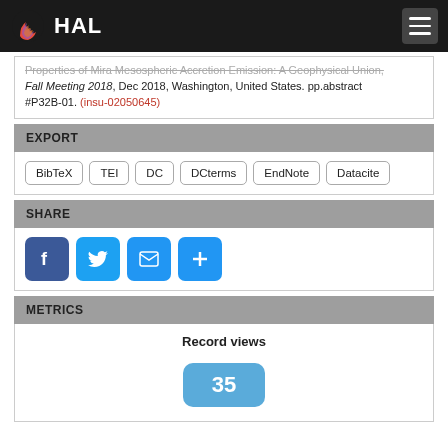HAL
Properties of Mira Mesospheric Accretion Emission: A Geophysical Union, Fall Meeting 2018, Dec 2018, Washington, United States. pp.abstract #P32B-01. (insu-02050645)
EXPORT
BibTeX | TEI | DC | DCterms | EndNote | Datacite
SHARE
[Figure (infographic): Social share buttons: Facebook, Twitter, Email, More (+)]
METRICS
Record views
35